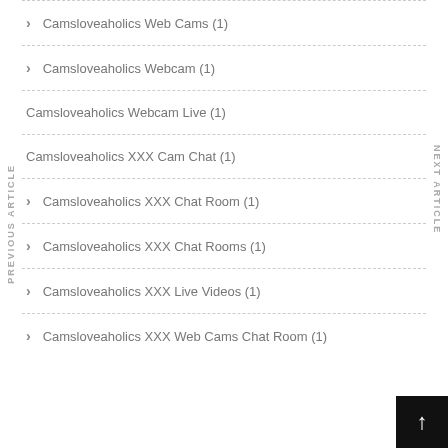Camsloveaholics Web Cams (1)
Camsloveaholics Webcam (1)
Camsloveaholics Webcam Live (1)
Camsloveaholics XXX Cam Chat (1)
Camsloveaholics XXX Chat Room (1)
Camsloveaholics XXX Chat Rooms (1)
Camsloveaholics XXX Live Videos (1)
Camsloveaholics XXX Web Cams Chat Room (1)